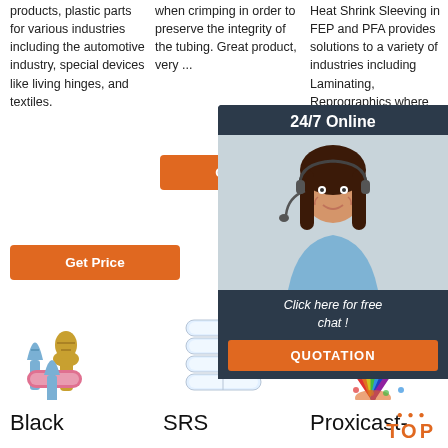products, plastic parts for various industries including the automotive industry, special devices like living hinges, and textiles.
when crimping in order to preserve the integrity of the tubing. Great product, very ...
Heat Shrink Sleeving in FEP and PFA provides solutions to a variety of industries including Laminating, Reprographics where
Get Price
Get Price
Get
[Figure (photo): Blue and gold spade/fork crimp terminals and a pink butt connector]
[Figure (photo): Clear plastic wire connectors / heat shrink butt connectors]
[Figure (photo): Colorful cable ties in a rainbow arrangement]
Black
SRS
Proxicast-
[Figure (photo): 24/7 Online chat widget with woman wearing headset, button: Click here for free chat! QUOTATION]
TOP